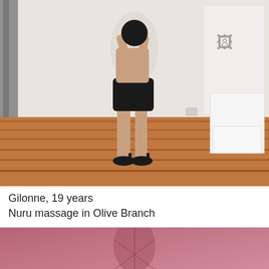[Figure (photo): Person posing in a room with wooden floor and white walls, wearing black outfit and high heels, taking a mirror-style photo]
Gilonne, 19 years
Nuru massage in Olive Branch
[Figure (photo): Partial view of a second photo with pink/warm toned background]